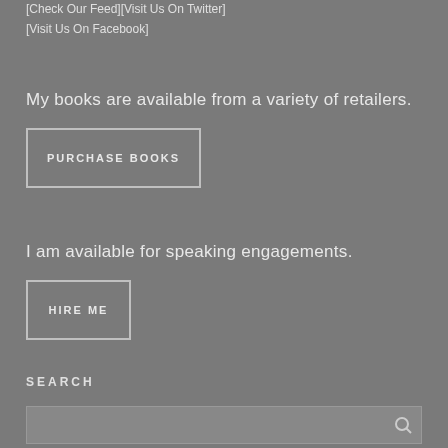[Check Our Feed][Visit Us On Twitter]
[Visit Us On Facebook]
My books are available from a variety of retailers.
PURCHASE BOOKS
I am available for speaking engagements.
HIRE ME
SEARCH